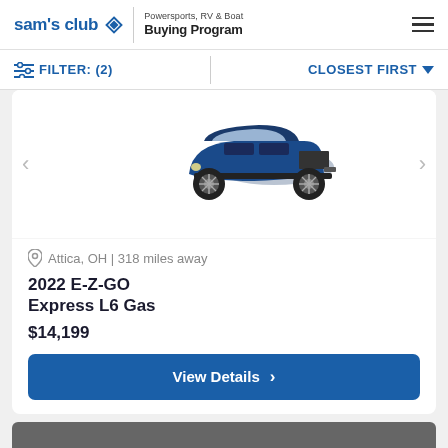sam's club | Powersports, RV & Boat Buying Program
FILTER: (2) | CLOSEST FIRST
[Figure (photo): Blue 2022 E-Z-GO Express L6 Gas golf cart viewed from rear three-quarter angle, showing large tires and cargo area]
Attica, OH | 318 miles away
2022 E-Z-GO Express L6 Gas
$14,199
View Details